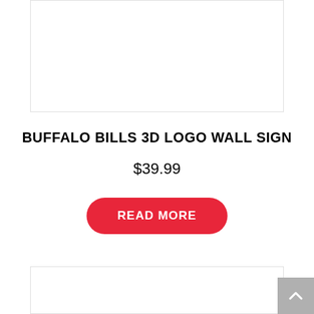[Figure (photo): Product image placeholder (top) - white rectangle with border]
BUFFALO BILLS 3D LOGO WALL SIGN
$39.99
READ MORE
[Figure (photo): Product image placeholder (bottom) - white rectangle with border]